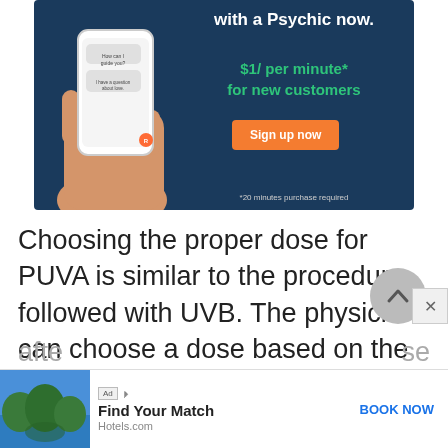[Figure (screenshot): Advertisement for psychic chat service: 'Need answers? Chat with a Psychic now. $1/per minute* for new customers. Sign up now. *20 minutes purchase required' on dark blue background with phone illustration.]
Choosing the proper dose for PUVA is similar to the procedure followed with UVB. The physician can choose a dose based on the patient's skin type. Often, however, a small area of the patient's skin will be exposed to UVA afte[r ...] se
[Figure (screenshot): Bottom advertisement bar: Ad | Hotels.com image | Find Your Match | Hotels.com | BOOK NOW]